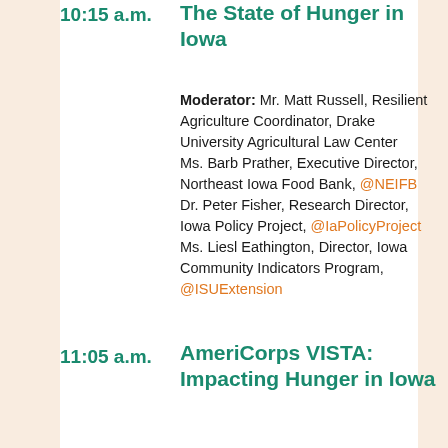10:15 a.m.  The State of Hunger in Iowa
Moderator: Mr. Matt Russell, Resilient Agriculture Coordinator, Drake University Agricultural Law Center
Ms. Barb Prather, Executive Director, Northeast Iowa Food Bank, @NEIFB
Dr. Peter Fisher, Research Director, Iowa Policy Project, @IaPolicyProject
Ms. Liesl Eathington, Director, Iowa Community Indicators Program, @ISUExtension
11:05 a.m.  AmeriCorps VISTA: Impacting Hunger in Iowa